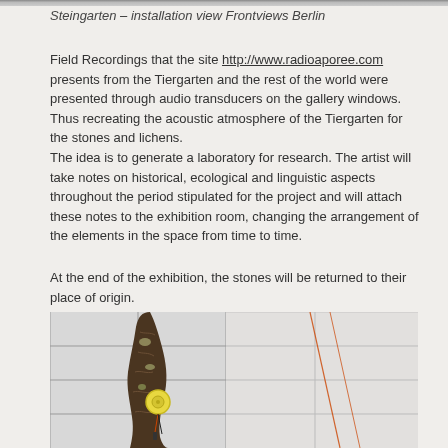Steingarten – installation view Frontviews Berlin
Field Recordings that the site http://www.radioaporee.com presents from the Tiergarten and the rest of the world were presented through audio transducers on the gallery windows. Thus recreating the acoustic atmosphere of the Tiergarten for the stones and lichens.
The idea is to generate a laboratory for research. The artist will take notes on historical, ecological and linguistic aspects throughout the period stipulated for the project and will attach these notes to the exhibition room, changing the arrangement of the elements in the space from time to time.
At the end of the exhibition, the stones will be returned to their place of origin.
[Figure (photo): Photo of a tree branch or bark with a round yellow transducer/piezo disc attached to it with wires, set against a white tiled wall background. On the right side of the image is a white wall with thin diagonal wires or cables.]